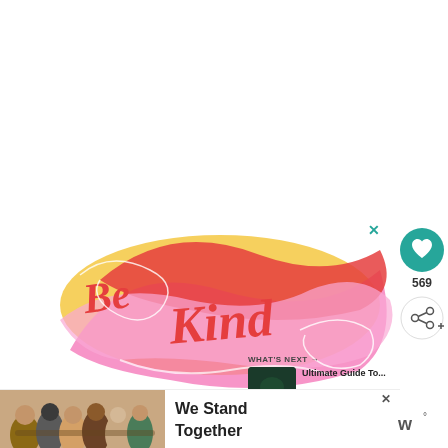[Figure (illustration): Colorful illustrated lettering artwork saying 'Be Kind' in red cursive script with pink, yellow wavy background shapes. Retro/groovy style typography.]
×
[Figure (infographic): Teal circular heart/like button icon]
569
[Figure (infographic): Share button with plus icon]
WHAT'S NEXT →
Ultimate Guide To...
[Figure (photo): Small thumbnail photo of a dark landscape/nature scene]
[Figure (photo): Ad banner showing group of diverse people hugging with backs to camera, text reading 'We Stand Together']
We Stand Together
[Figure (logo): Metomic logo — stylized W with degree symbol, text 'w°']